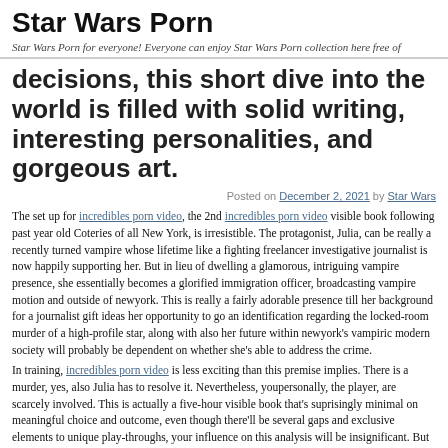Star Wars Porn
Star Wars Porn for everyone! Everyone can enjoy Star Wars Porn collection here free of
decisions, this short dive into the world is filled with solid writing, interesting personalities, and gorgeous art.
Posted on December 2, 2021 by Star Wars
The set up for incredibles porn video, the 2nd incredibles porn video visible book following past year old Coteries of all New York, is irresistible. The protagonist, Julia, can be really a recently turned vampire whose lifetime like a fighting freelancer investigative journalist is now happily supporting her. But in lieu of dwelling a glamorous, intriguing vampire presence, she essentially becomes a glorified immigration officer, broadcasting vampire motion and outside of newyork. This is really a fairly adorable presence till her background for a journalist gift ideas her opportunity to go an identification regarding the locked-room murder of a high-profile star, along with also her future within newyork's vampiric modern society will probably be dependent on whether she's able to address the crime.
In training, incredibles porn video is less exciting than this premise implies. There is a murder, yes, also Julia has to resolve it. Nevertheless, youpersonally, the player, are scarcely involved. This is actually a five-hour visible book that's suprisingly minimal on meaningful choice and outcome, even though there'll be several gaps and exclusive elements to unique play-throughs, your influence on this analysis will be insignificant. But even though it really is mild on player input, incredibles porn video is still an entertaining visual book for that most part, using an interesting central personality, stable script, and strong demonstration.
incredibles porn video is someplace between a self-indulgent spin-off and an immediate